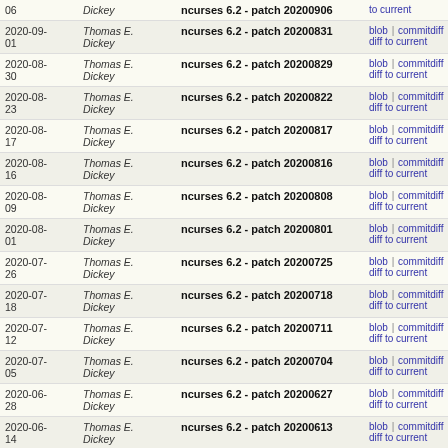| Date | Author | Commit message | Actions |
| --- | --- | --- | --- |
| 06 | Dickey | ncurses 6.2 - patch 20200906 | blob | commitdiff | raw | diff to current |
| 2020-09-01 | Thomas E. Dickey | ncurses 6.2 - patch 20200831 | blob | commitdiff | raw | diff to current |
| 2020-08-30 | Thomas E. Dickey | ncurses 6.2 - patch 20200829 | blob | commitdiff | raw | diff to current |
| 2020-08-23 | Thomas E. Dickey | ncurses 6.2 - patch 20200822 | blob | commitdiff | raw | diff to current |
| 2020-08-17 | Thomas E. Dickey | ncurses 6.2 - patch 20200817 | blob | commitdiff | raw | diff to current |
| 2020-08-16 | Thomas E. Dickey | ncurses 6.2 - patch 20200816 | blob | commitdiff | raw | diff to current |
| 2020-08-09 | Thomas E. Dickey | ncurses 6.2 - patch 20200808 | blob | commitdiff | raw | diff to current |
| 2020-08-01 | Thomas E. Dickey | ncurses 6.2 - patch 20200801 | blob | commitdiff | raw | diff to current |
| 2020-07-26 | Thomas E. Dickey | ncurses 6.2 - patch 20200725 | blob | commitdiff | raw | diff to current |
| 2020-07-18 | Thomas E. Dickey | ncurses 6.2 - patch 20200718 | blob | commitdiff | raw | diff to current |
| 2020-07-12 | Thomas E. Dickey | ncurses 6.2 - patch 20200711 | blob | commitdiff | raw | diff to current |
| 2020-07-05 | Thomas E. Dickey | ncurses 6.2 - patch 20200704 | blob | commitdiff | raw | diff to current |
| 2020-06-28 | Thomas E. Dickey | ncurses 6.2 - patch 20200627 | blob | commitdiff | raw | diff to current |
| 2020-06-14 | Thomas E. Dickey | ncurses 6.2 - patch 20200613 | blob | commitdiff | raw | diff to current |